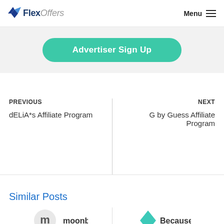FlexOffers  Menu
[Figure (screenshot): Green teal rounded button labeled 'Advertiser Sign Up' on a light gray background]
PREVIOUS
dELiA*s Affiliate Program
NEXT
G by Guess Affiliate Program
Similar Posts
[Figure (logo): Moonbug logo (circular icon with letter m)]
[Figure (logo): Because logo (teal diamond icon with text 'Because')]